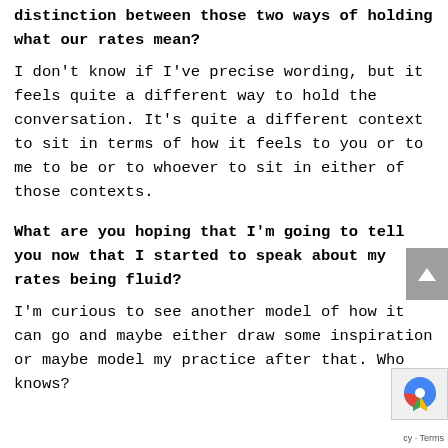distinction between those two ways of holding what our rates mean?
I don't know if I've precise wording, but it feels quite a different way to hold the conversation. It's quite a different context to sit in terms of how it feels to you or to me to be or to whoever to sit in either of those contexts.
What are you hoping that I'm going to tell you now that I started to speak about my rates being fluid?
I'm curious to see another model of how it can go and maybe either draw some inspiration or maybe model my practice after that. Who knows?